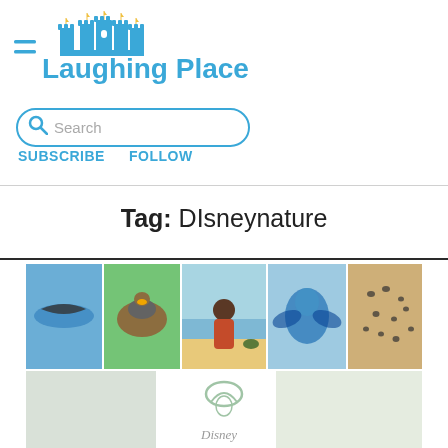[Figure (logo): Laughing Place logo with castle silhouette and hamburger menu icon, blue text]
[Figure (other): Search box with magnifying glass icon and placeholder text 'Search']
SUBSCRIBE   FOLLOW
Tag: DIsneynature
[Figure (photo): Collage of nature/wildlife photos including birds, turtle, child on beach, blue bird, and more. Disneynature logo overlay at bottom center.]